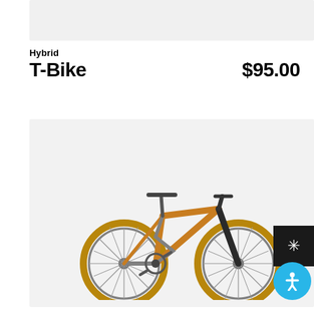[Figure (other): Gray placeholder image bar at top]
Hybrid
T-Bike    $95.00
[Figure (photo): Orange and gray full-suspension mountain bike on light gray background, with accessibility button overlay]